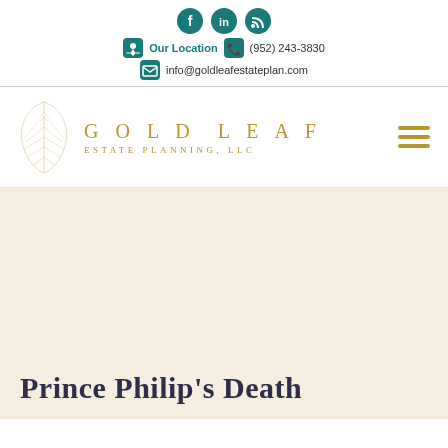Social icons: Facebook, LinkedIn, RSS | Our Location | (952) 243-3830 | info@goldleafestateplan.com
[Figure (logo): Gold Leaf Estate Planning LLC logo with gold leaf illustration and gold text 'GOLD LEAF ESTATE PLANNING, LLC']
Prince Philip's Death